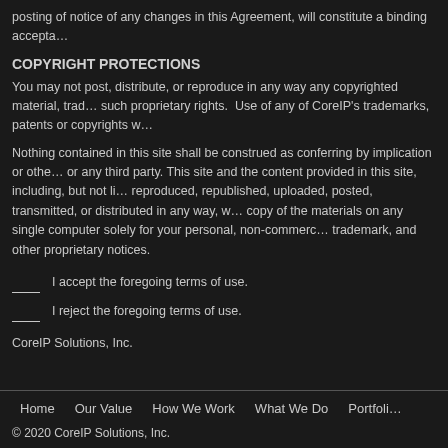posting of notice of any changes in this Agreement, will constitute a binding accepta...
COPYRIGHT PROTECTIONS
You may not post, distribute, or reproduce in any way any copyrighted material, trad... such proprietary rights. Use of any of CoreIP’s trademarks, patents or copyrights w...
Nothing contained in this site shall be construed as conferring by implication or othe... or any third party. This site and the content provided in this site, including, but not li... reproduced, republished, uploaded, posted, transmitted, or distributed in any way, w... copy of the materials on any single computer solely for your personal, non-commerc... trademark, and other proprietary notices.
____ I accept the foregoing terms of use.
____ I reject the foregoing terms of use.
CoreIP Solutions, Inc.
Home  Our Value  How We Work  What We Do  Portfoli...
© 2020 CoreIP Solutions, Inc.